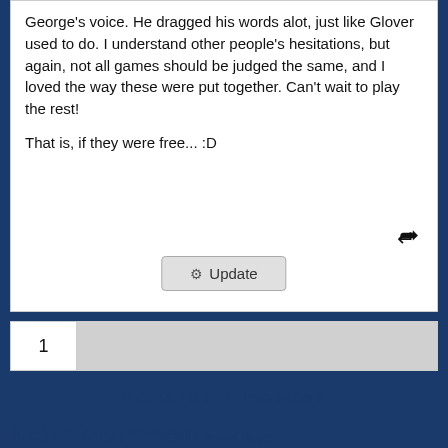voice was really good at imitating young George's voice. He dragged his words alot, just like Glover used to do. I understand other people's hesitations, but again, not all games should be judged the same, and I loved the way these were put together. Can't wait to play the rest!

That is, if they were free... :D
[Figure (screenshot): Update button with gear icon and pagination bar showing page 1]
^ Scroll Up | Homepage >
Leave a comment [top of page]